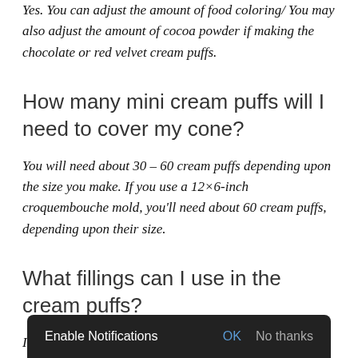Yes. You can adjust the amount of food coloring/ You may also adjust the amount of cocoa powder if making the chocolate or red velvet cream puffs.
How many mini cream puffs will I need to cover my cone?
You will need about 30 – 60 cream puffs depending upon the size you make. If you use a 12×6-inch croquembouche mold, you'll need about 60 cream puffs, depending upon their size.
What fillings can I use in the cream puffs?
I love to use ... before filling ... the bottom in chocolate ganache or room temperature
Enable Notifications  OK  No thanks